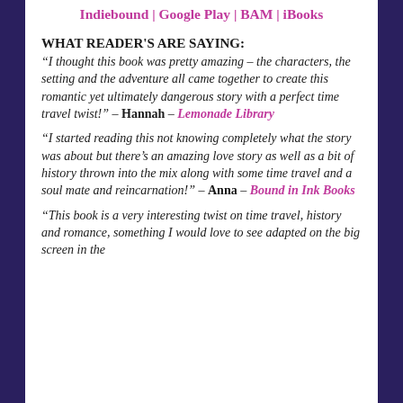Indiebound | Google Play | BAM | iBooks
WHAT READER'S ARE SAYING:
“I thought this book was pretty amazing – the characters, the setting and the adventure all came together to create this romantic yet ultimately dangerous story with a perfect time travel twist!” – Hannah – Lemonade Library
“I started reading this not knowing completely what the story was about but there’s an amazing love story as well as a bit of history thrown into the mix along with some time travel and a soul mate and reincarnation!” – Anna – Bound in Ink Books
“This book is a very interesting twist on time travel, history and romance, something I would love to see adapted on the big screen in the